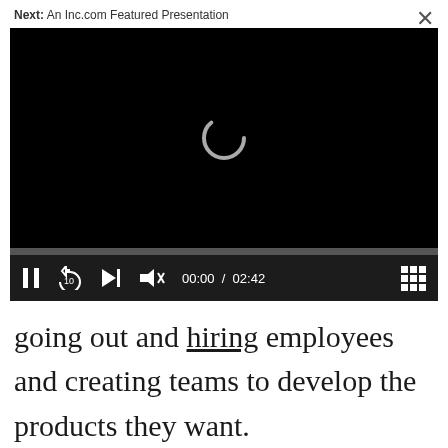Next: An Inc.com Featured Presentation
[Figure (screenshot): Video player with black screen showing a loading spinner, progress bar, and controls showing 00:00 / 02:42]
going out and hiring employees and creating teams to develop the products they want.
[Figure (screenshot): Advertisement banner for 4WD Vehicles by Dorman with red/orange automotive image on left, Open button on right]
In th...ly